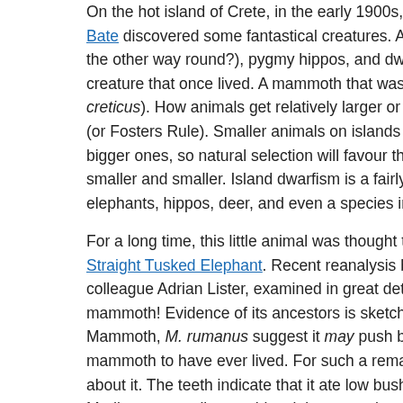On the hot island of Crete, in the early 1900s, the young palaeo[ntologist Dorothea] Bate discovered some fantastical creatures. An odd sheep that c[ould climb the other way round?), pygmy hippos, and dwarf mammoths. Ye[t the most extraordinary] creature that once lived. A mammoth that was just 1 meter tall: [Mammuthus] creticus). How animals get relatively larger or smaller on an isla[nd is known as island rule] (or Fosters Rule). Smaller animals on islands are more likely to [get bigger and] bigger ones, so natural selection will favour the smaller individu[als, making a species] smaller and smaller. Island dwarfism is a fairly common pheno[menon, seen in] elephants, hippos, deer, and even a species in our own genus, H[omo floresiensis].

For a long time, this little animal was thought to have been a mi[niaturized] Straight Tusked Elephant. Recent reanalysis by Trowelblazer ex[pert and her] colleague Adrian Lister, examined in great detail the teeth and s[keleton of the] mammoth! Evidence of its ancestors is sketchy, morphological s[imilarities to the] Mammoth, M. rumanus suggest it may push back to 3.5 million [years, the earliest] mammoth to have ever lived. For such a remarkable creature rel[atively little is known] about it. The teeth indicate that it ate low bushes instead of gras[s. With a warm] Mediterranean climate, this mini-mammoth was not a hairy bea[st. As to how] it became extinct, but there is nothing to suggest that humans w[ere responsible].